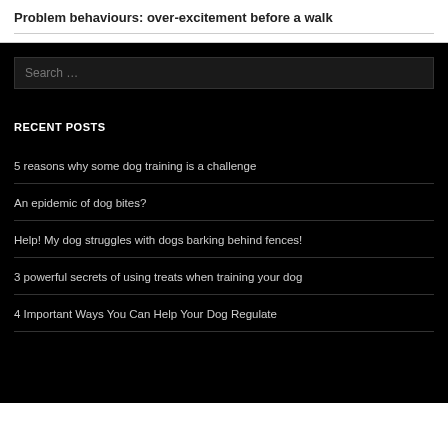Problem behaviours: over-excitement before a walk
Search …
RECENT POSTS
5 reasons why some dog training is a challenge
An epidemic of dog bites?
Help! My dog struggles with dogs barking behind fences!
3 powerful secrets of using treats when training your dog
4 Important Ways You Can Help Your Dog Regulate